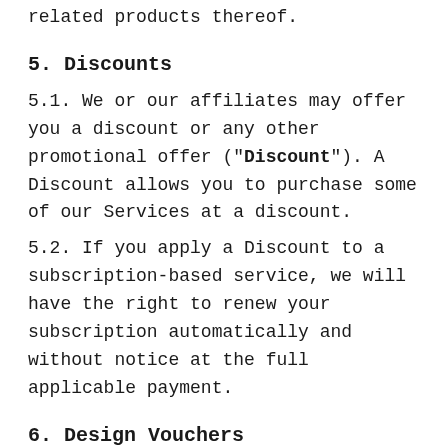related products thereof.
5. Discounts
5.1. We or our affiliates may offer you a discount or any other promotional offer (“Discount”). A Discount allows you to purchase some of our Services at a discount.
5.2. If you apply a Discount to a subscription-based service, we will have the right to renew your subscription automatically and without notice at the full applicable payment.
6. Design Vouchers
6.1. We may offer design vouchers for sale (“Design Vouchers”). The Design Vouche...